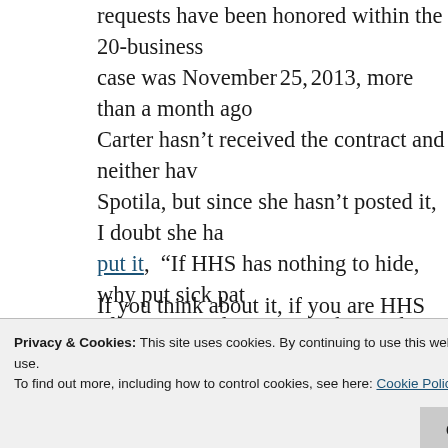requests have been honored within the 20-business case was November 25, 2013, more than a month ago Carter hasn't received the contract and neither hav Spotila, but since she hasn't posted it, I doubt she ha put it, “If HHS has nothing to hide, why put sick pat effort required to put together such an FOIA reques continued, “This stonewalling and lack of transpare rush in finalizing this contract, raise serious questio process [and I will add: the contract terms] itself.”
If you think about it, if you are HHS and you are tryi because they so obviously aren’t—wouldn’t you opt as possible? Oh right! That would require that HHS
Privacy & Cookies: This site uses cookies. By continuing to use this website, you agree to their use.
To find out more, including how to control cookies, see here: Cookie Policy
Close and accept
and the complete ignoring of the advocates. Open d